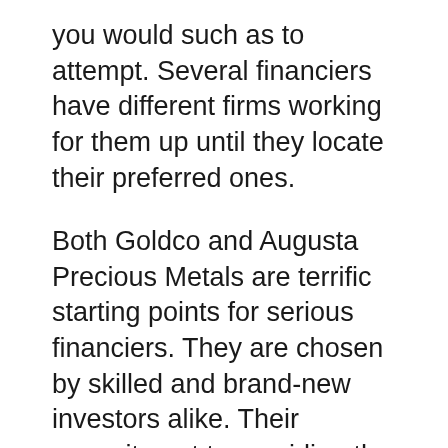you would such as to attempt. Several financiers have different firms working for them up until they locate their preferred ones.
Both Goldco and Augusta Precious Metals are terrific starting points for serious financiers. They are chosen by skilled and brand-new investors alike. Their commitment to providing the very best solution by knowledgeable experts shows in the abundance of positive consumer reviews.
When it pertains to financial investments, precious metals are just one of the best methods to grow your financial resources. Begin by calling their investment experts for an examination. The even more you discover